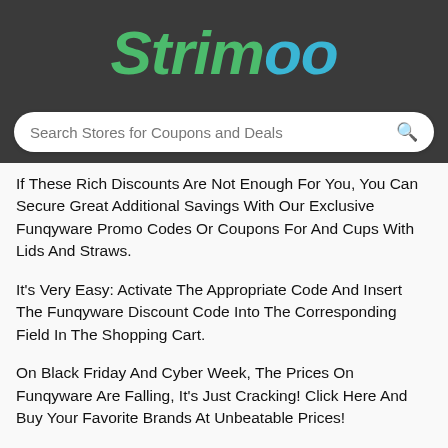Strimoo
Search Stores for Coupons and Deals
If These Rich Discounts Are Not Enough For You, You Can Secure Great Additional Savings With Our Exclusive Funqyware Promo Codes Or Coupons For And Cups With Lids And Straws.
It's Very Easy: Activate The Appropriate Code And Insert The Funqyware Discount Code Into The Corresponding Field In The Shopping Cart.
On Black Friday And Cyber Week, The Prices On Funqyware Are Falling, It's Just Cracking! Click Here And Buy Your Favorite Brands At Unbeatable Prices!
You Can Find The Latest And Greatest Coupons And Discount Deals Quickly And Easily By Visiting The Funqyware Website. We Have Already Listed The Best Offers And Discounts Of August 2022 With A Short Title And Average Savings $14 For You. In Addition You Will Oft...